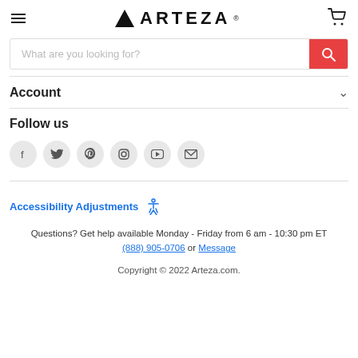[Figure (logo): Arteza logo with triangle icon and brand name in bold uppercase]
What are you looking for?
Account
Follow us
[Figure (infographic): Social media icons: Facebook, Twitter, Pinterest, Instagram, YouTube, Email in grey circles]
Accessibility Adjustments
Questions? Get help available Monday - Friday from 6 am - 10:30 pm ET (888) 905-0706 or Message
Copyright © 2022 Arteza.com.